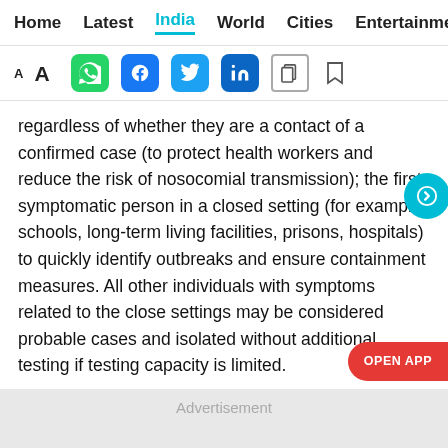Home  Latest  India  World  Cities  Entertainment
[Figure (screenshot): Toolbar with font size (AA), WhatsApp, Facebook, Twitter, LinkedIn, copy, and bookmark icons]
regardless of whether they are a contact of a confirmed case (to protect health workers and reduce the risk of nosocomial transmission); the first symptomatic person in a closed setting (for example, schools, long-term living facilities, prisons, hospitals) to quickly identify outbreaks and ensure containment measures. All other individuals with symptoms related to the close settings may be considered probable cases and isolated without additional testing if testing capacity is limited.
Advertisement